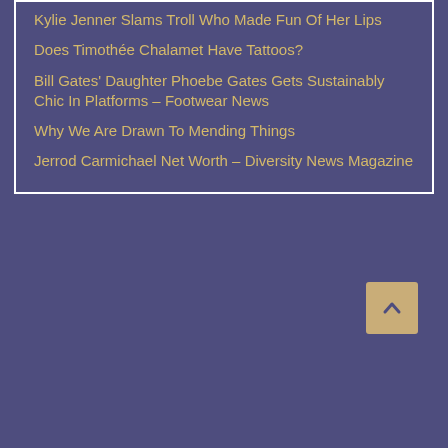Kylie Jenner Slams Troll Who Made Fun Of Her Lips
Does Timothée Chalamet Have Tattoos?
Bill Gates' Daughter Phoebe Gates Gets Sustainably Chic In Platforms – Footwear News
Why We Are Drawn To Mending Things
Jerrod Carmichael Net Worth – Diversity News Magazine
[Figure (other): Scroll-to-top button with upward caret arrow, tan/gold colored, positioned bottom-right of the purple footer area]